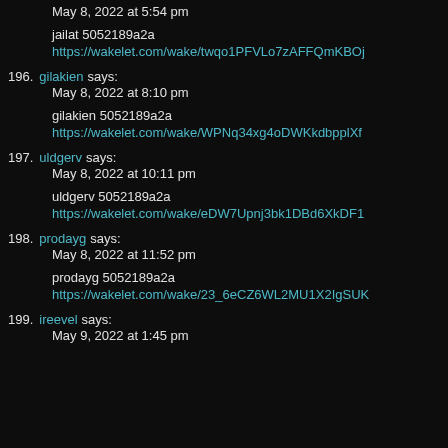May 8, 2022 at 5:54 pm
jailat 5052189a2a
https://wakelet.com/wake/twqo1PFVLo7zAFFQmKBOj
196. gilakien says:
May 8, 2022 at 8:10 pm
gilakien 5052189a2a
https://wakelet.com/wake/WPNq34xg4oDWKkdbpplXf
197. uldgerv says:
May 8, 2022 at 10:11 pm
uldgerv 5052189a2a
https://wakelet.com/wake/eDW7Upnj3bk1DBd6XkDF1
198. prodayg says:
May 8, 2022 at 11:52 pm
prodayg 5052189a2a
https://wakelet.com/wake/23_6eCZ6WL2MU1X2IgSUK
199. ireevel says:
May 9, 2022 at 1:45 pm